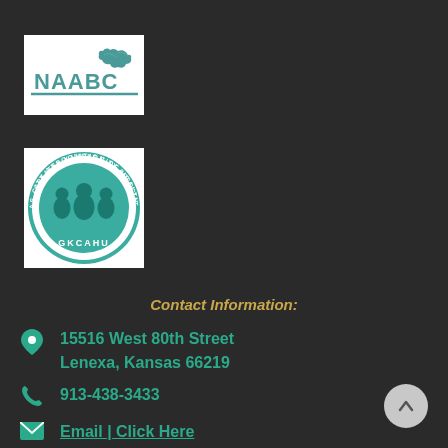[Figure (logo): NAABC logo with teal bird/eagle graphic and bold NAABC text on white background]
[Figure (logo): GKCAHU round seal logo — Greater Kansas City Association of Health Underwriters, teal circular badge with silhouettes of people]
Contact Information:
15516 West 80th Street
Lenexa, Kansas 66219
913-438-3433
Email | Click Here